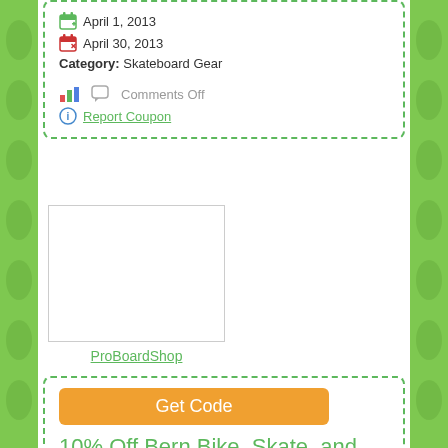April 1, 2013
April 30, 2013
Category: Skateboard Gear
Comments Off
Report Coupon
[Figure (logo): ProBoardShop store logo placeholder (white rectangle with border)]
ProBoardShop
Get Code
10% Off Bern Bike, Skate, and Wake Helmets at ProBoardShop Coupon Code
Save 10% off Bern Bike, Skate, and Wake Helmets at